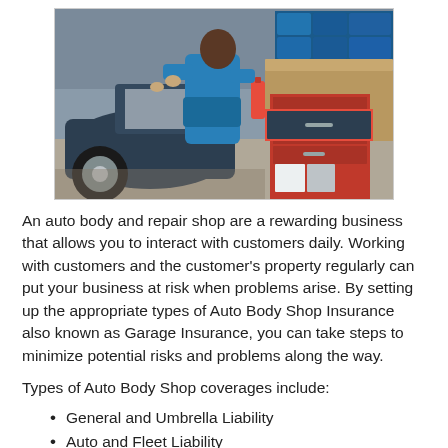[Figure (photo): An auto mechanic in blue work clothes leaning over a car engine in a garage, with a red tool cabinet with open drawers in the foreground, and blue parts storage bins in the background.]
An auto body and repair shop are a rewarding business that allows you to interact with customers daily. Working with customers and the customer's property regularly can put your business at risk when problems arise. By setting up the appropriate types of Auto Body Shop Insurance also known as Garage Insurance, you can take steps to minimize potential risks and problems along the way.
Types of Auto Body Shop coverages include:
General and Umbrella Liability
Auto and Fleet Liability
Property/Cargo Insurance